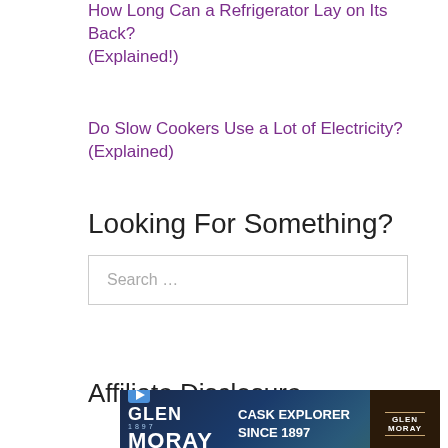How Long Can a Refrigerator Lay on Its Back? (Explained!)
Do Slow Cookers Use a Lot of Electricity? (Explained)
Looking For Something?
Search …
Affiliate Disclosure
[Figure (photo): Glen Moray Cask Explorer Since 1897 Speyside whisky advertisement banner]